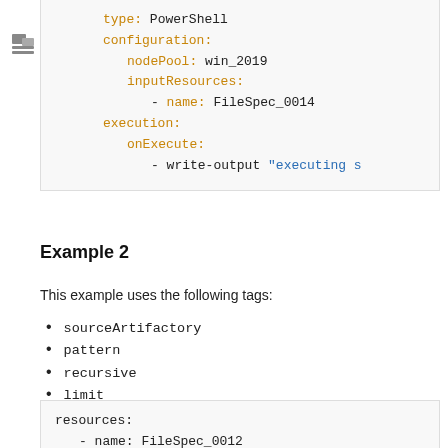[Figure (screenshot): Sidebar icon (folder/file tree icon) on left side of page]
type: PowerShell
    configuration:
      nodePool: win_2019
      inputResources:
        - name: FileSpec_0014
    execution:
      onExecute:
        - write-output "executing s
Example 2
This example uses the following tags:
sourceArtifactory
pattern
recursive
limit
sortBy
sortOrder
target
resources:
  - name: FileSpec_0012